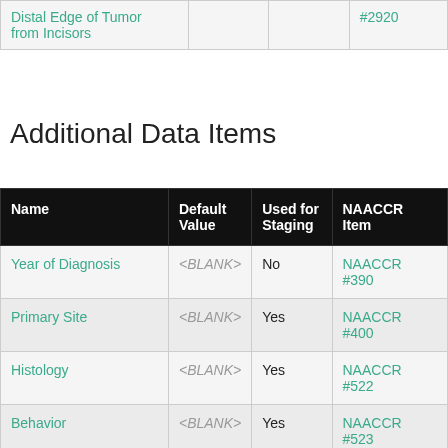| Name | Default Value | Used for Staging | NAACCR Item |
| --- | --- | --- | --- |
| Distal Edge of Tumor from Incisors |  |  | #2920 |
Additional Data Items
| Name | Default Value | Used for Staging | NAACCR Item |
| --- | --- | --- | --- |
| Year of Diagnosis | <BLANK> | No | NAACCR #390 |
| Primary Site | <BLANK> | Yes | NAACCR #400 |
| Histology | <BLANK> | Yes | NAACCR #522 |
| Behavior | <BLANK> | Yes | NAACCR #523 |
| RX S... | <BLANK> | Y... | NAAC... |